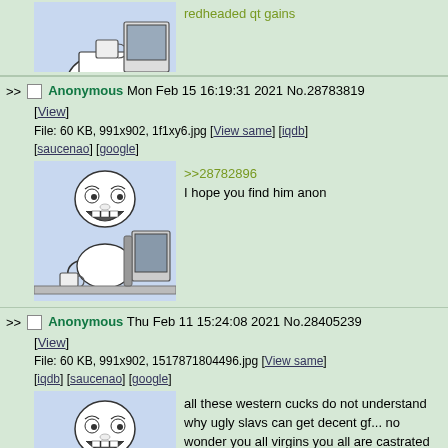[Figure (illustration): Partial view of troll face meme image at top of page, cut off]
redheaded qt gains
>> Anonymous Mon Feb 15 16:19:31 2021 No.28783819 [View]
File: 60 KB, 991x902, 1f1xy6.jpg [View same] [iqdb] [saucenao] [google]
[Figure (illustration): Troll face meme: person sitting at computer laughing]
>>28782896
I hope you find him anon
>> Anonymous Thu Feb 11 15:24:08 2021 No.28405239 [View]
File: 60 KB, 991x902, 1517871804496.jpg [View same] [iqdb] [saucenao] [google]
[Figure (illustration): Troll face meme: person sitting at computer laughing]
all these western cucks do not understand why ugly slavs can get decent gf... no wonder you all virgins you all are castrated